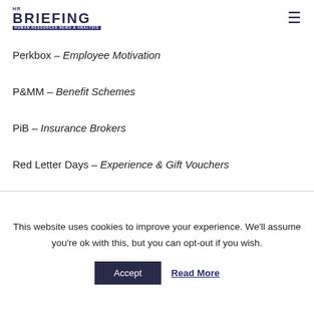HR BRIEFING HUMAN RESOURCES NEWS & ANALYSIS
Perkbox – Employee Motivation
P&MM – Benefit Schemes
PiB – Insurance Brokers
Red Letter Days – Experience & Gift Vouchers
This website uses cookies to improve your experience. We'll assume you're ok with this, but you can opt-out if you wish.
Accept  Read More